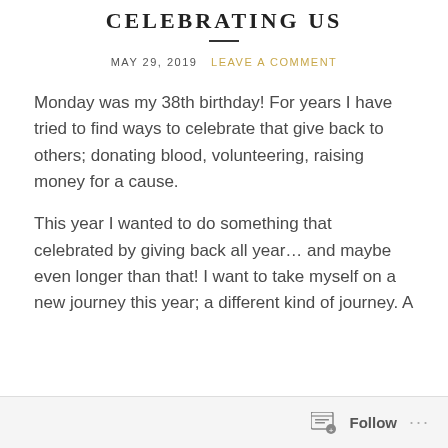CELEBRATING US
MAY 29, 2019   LEAVE A COMMENT
Monday was my 38th birthday! For years I have tried to find ways to celebrate that give back to others; donating blood, volunteering, raising money for a cause.
This year I wanted to do something that celebrated by giving back all year… and maybe even longer than that! I want to take myself on a new journey this year; a different kind of journey. A
Follow ...